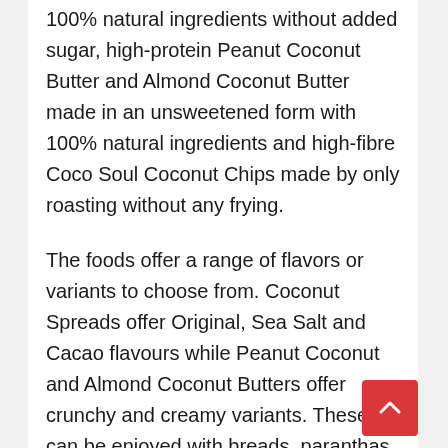100% natural ingredients without added sugar, high-protein Peanut Coconut Butter and Almond Coconut Butter made in an unsweetened form with 100% natural ingredients and high-fibre Coco Soul Coconut Chips made by only roasting without any frying.
The foods offer a range of flavors or variants to choose from. Coconut Spreads offer Original, Sea Salt and Cacao flavours while Peanut Coconut and Almond Coconut Butters offer crunchy and creamy variants. These can be enjoyed with breads, paranthas, crackers or smoothies.
The Coco Soul Coconut chips are made using 100% natural coconuts sourced from Thailand and are offered in four flavours- Thai Chilli